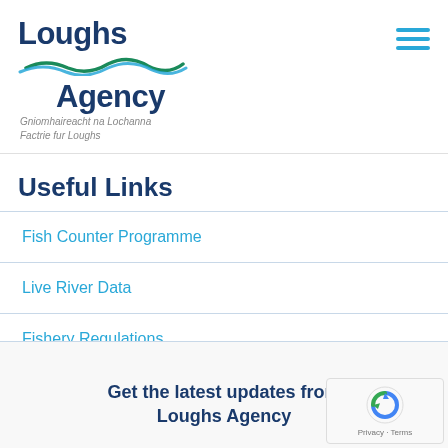[Figure (logo): Loughs Agency logo with wave graphic and Irish/Ulster Scots subtitle text: Gniomhaireacht na Lochanna / Factrie fur Loughs]
Useful Links
Fish Counter Programme
Live River Data
Fishery Regulations
Get the latest updates from Loughs Agency